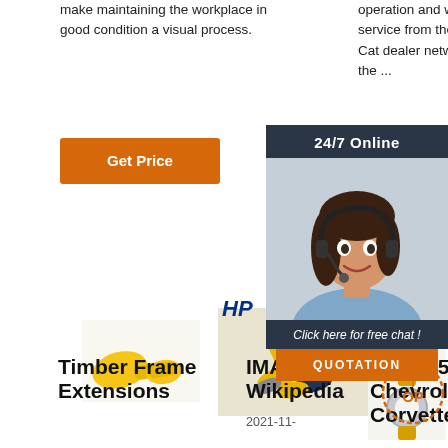make maintaining the workplace in good condition a visual process.
operation and world-class service from the global Cat dealer network to be the ...
[Figure (other): Orange Get Price button]
[Figure (other): Orange Get button (partially visible)]
[Figure (photo): Yellow electrical connectors/terminals product photo]
[Figure (photo): HP branded assorted wire connectors product photo]
[Figure (photo): Raytech ring terminals product photo]
[Figure (other): 24/7 Online chat overlay with customer service representative photo and QUOTATION button]
Timber Frame Extensions
IMAX - Wikipedia
2021-11-
2004 C5 Chevrolet Corvette: Specificati...